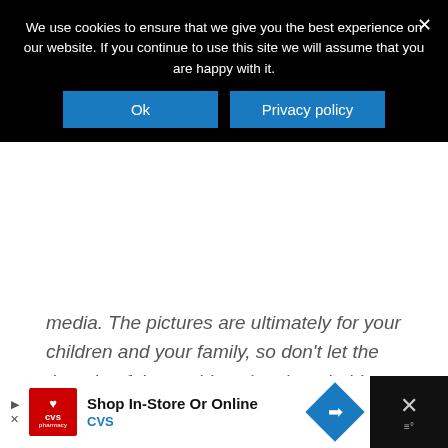We use cookies to ensure that we give you the best experience on our website. If you continue to use this site we will assume that you are happy with it.
media.  The pictures are ultimately for your children and your family, so don't let the thought of the world seeing them hold you back.  You can keep them to yourself offline.)
This blog post will be updated each week with my experience.  Please come back and leave a comment about your experience so that we can support you!
[Figure (screenshot): CVS pharmacy advertisement banner: Shop In-Store Or Online, CVS logo with heart, blue direction sign icon, close button]